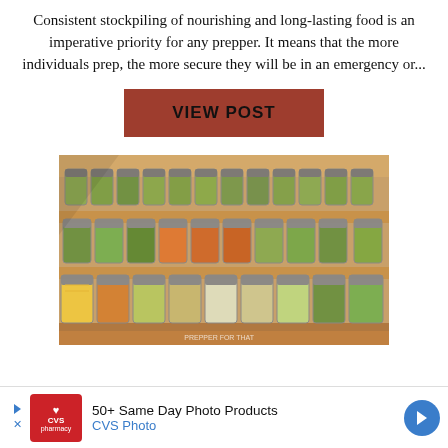Consistent stockpiling of nourishing and long-lasting food is an imperative priority for any prepper. It means that the more individuals prep, the more secure they will be in an emergency or...
VIEW POST
[Figure (photo): Wooden shelving unit displaying multiple rows of glass canning jars filled with preserved vegetables such as pickles, corn, and other pickled goods. A watermark reading 'PREPPER FOR THAT' is visible in the bottom right corner.]
50+ Same Day Photo Products CVS Photo